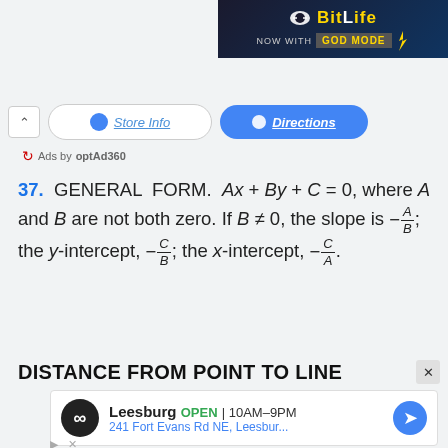[Figure (screenshot): BitLife 'NOW WITH GOD MODE' advertisement banner in top right corner]
[Figure (screenshot): Google Maps store info and directions UI bar with chevron button]
Ads by optAd360
37. GENERAL FORM. Ax + By + C = 0, where A and B are not both zero. If B ≠ 0, the slope is −A/B; the y-intercept, −C/B; the x-intercept, −C/A.
DISTANCE FROM POINT TO LINE
[Figure (screenshot): Leesburg store advertisement: OPEN 10AM-9PM, 241 Fort Evans Rd NE, Leesbur... with navigation icon]